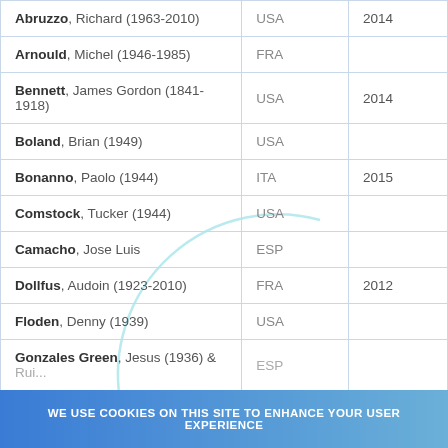| Name | Country | Year |
| --- | --- | --- |
| Abruzzo, Richard (1963-2010) | USA | 2014 |
| Arnould, Michel (1946-1985) | FRA |  |
| Bennett, James Gordon (1841-1918) | USA | 2014 |
| Boland, Brian (1949) | USA |  |
| Bonanno, Paolo (1944) | ITA | 2015 |
| Comstock, Tucker (1944) | USA |  |
| Camacho, Jose Luis | ESP |  |
| Dollfus, Audoin (1923-2010) | FRA | 2012 |
| Floden, Denny (1939) | USA |  |
| Gonzales Green, Jesus (1936) & Rui... | ESP... |  |
WE USE COOKIES ON THIS SITE TO ENHANCE YOUR USER EXPERIENCE